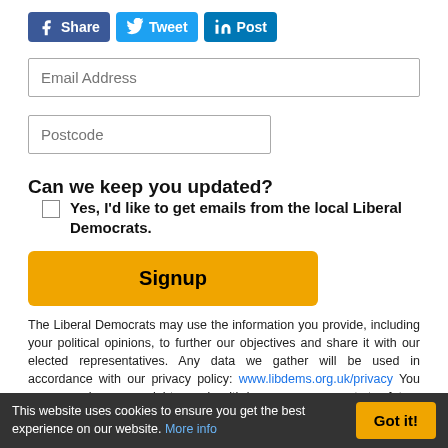[Figure (other): Social media sharing buttons: Facebook Share, Twitter Tweet, LinkedIn Post]
Email Address
Postcode
Can we keep you updated?
Yes, I'd like to get emails from the local Liberal Democrats.
Signup
The Liberal Democrats may use the information you provide, including your political opinions, to further our objectives and share it with our elected representatives. Any data we gather will be used in accordance with our privacy policy: www.libdems.org.uk/privacy You can exercise your rights and withdraw your consent to future communications by contacting
This website uses cookies to ensure you get the best experience on our website. More info